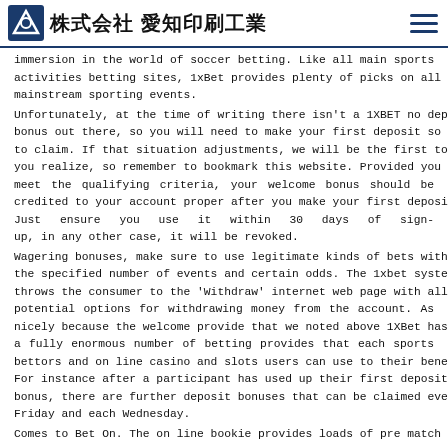株式会社 愛知印刷工業
immersion in the world of soccer betting. Like all main sports activities betting sites, 1xBet provides plenty of picks on all mainstream sporting events.
Unfortunately, at the time of writing there isn't a 1XBET no deposit bonus out there, so you will need to make your first deposit so as to claim. If that situation adjustments, we will be the first to let you realize, so remember to bookmark this website. Provided you meet the qualifying criteria, your welcome bonus should be credited to your account proper after you make your first deposit. Just ensure you use it within 30 days of sign-up, in any other case, it will be revoked.
Wagering bonuses, make sure to use legitimate kinds of bets with the specified number of events and certain odds. The 1xbet system throws the consumer to the 'Withdraw' internet web page with all potential options for withdrawing money from the account. As nicely because the welcome provide that we noted above 1XBet has a fully enormous number of betting provides that each sports bettors and on line casino and slots users can use to their benefit. For instance after a participant has used up their first deposit bonus, there are further deposit bonuses that can be claimed every Friday and each Wednesday.
Comes to Bet On. The on line bookie provides loads of pre match